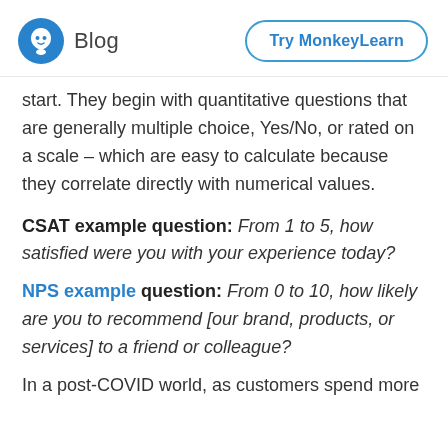Blog | Try MonkeyLearn
start. They begin with quantitative questions that are generally multiple choice, Yes/No, or rated on a scale – which are easy to calculate because they correlate directly with numerical values.
CSAT example question: From 1 to 5, how satisfied were you with your experience today?
NPS example question: From 0 to 10, how likely are you to recommend [our brand, products, or services] to a friend or colleague?
In a post-COVID world, as customers spend more